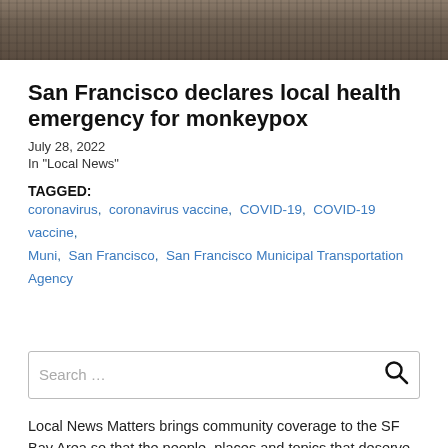[Figure (photo): Close-up photo of a monkeypox virus / animal texture, brownish tones]
San Francisco declares local health emergency for monkeypox
July 28, 2022
In "Local News"
TAGGED:   coronavirus,  coronavirus vaccine,  COVID-19,  COVID-19 vaccine,  Muni,  San Francisco,  San Francisco Municipal Transportation Agency
Search …
Local News Matters brings community coverage to the SF Bay Area so that the people, places and topics that deserve more attention get it. Our nonprofit newsroom is supported by the generosity of readers like you via tax-deductible donations to Bay City News Foundation.